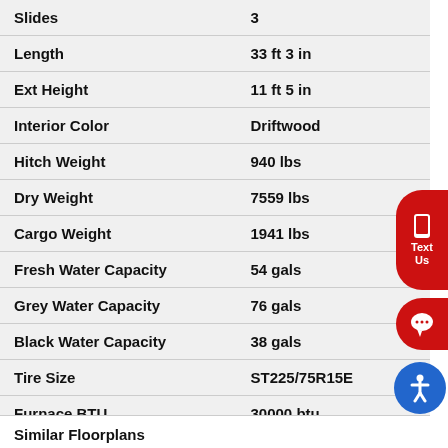| Attribute | Value |
| --- | --- |
| Slides | 3 |
| Length | 33 ft 3 in |
| Ext Height | 11 ft 5 in |
| Interior Color | Driftwood |
| Hitch Weight | 940 lbs |
| Dry Weight | 7559 lbs |
| Cargo Weight | 1941 lbs |
| Fresh Water Capacity | 54 gals |
| Grey Water Capacity | 76 gals |
| Black Water Capacity | 38 gals |
| Tire Size | ST225/75R15E |
| Furnace BTU | 30000 btu |
| Available Beds | King |
Similar Floorplans